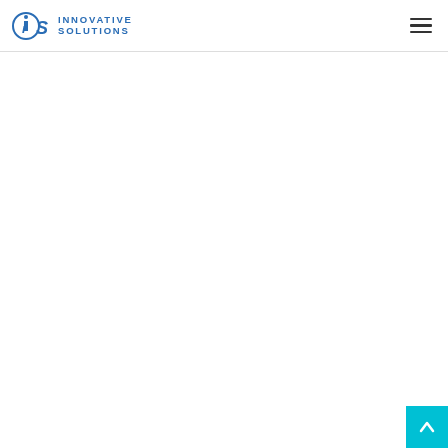INNOVATIVE SOLUTIONS
[Figure (logo): Innovative Solutions company logo with 'iS' icon on left and text 'INNOVATIVE SOLUTIONS' stacked on right in blue, with hamburger menu icon on far right]
[Figure (infographic): Cyan/teal scroll-to-top button with upward arrow in bottom-right corner]